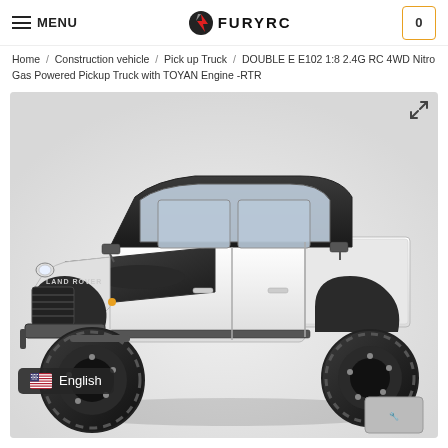MENU | FURYRC | 0
Home / Construction vehicle / Pick up Truck / DOUBLE E E102 1:8 2.4G RC 4WD Nitro Gas Powered Pickup Truck with TOYAN Engine -RTR
[Figure (photo): White Land Rover Defender style RC pickup truck model, 1:8 scale, with black roof and hood, large off-road tires, viewed from front-left angle on light gray background. English language selector overlay at bottom left. Small thumbnail image at bottom right.]